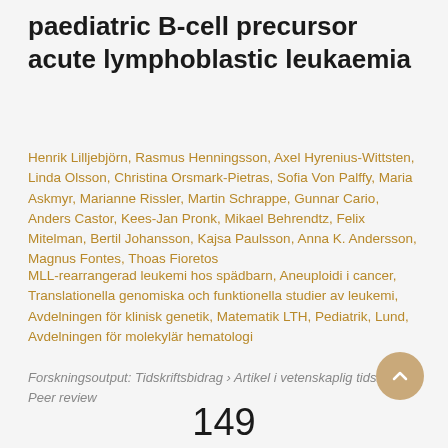paediatric B-cell precursor acute lymphoblastic leukaemia
Henrik Lilljebjörn, Rasmus Henningsson, Axel Hyrenius-Wittsten, Linda Olsson, Christina Orsmark-Pietras, Sofia Von Palffy, Maria Askmyr, Marianne Rissler, Martin Schrappe, Gunnar Cario, Anders Castor, Kees-Jan Pronk, Mikael Behrendtz, Felix Mitelman, Bertil Johansson, Kajsa Paulsson, Anna K. Andersson, Magnus Fontes, Thoas Fioretos
MLL-rearrangerad leukemi hos spädbarn, Aneuploidi i cancer, Translationella genomiska och funktionella studier av leukemi, Avdelningen för klinisk genetik, Matematik LTH, Pediatrik, Lund, Avdelningen för molekylär hematologi
Forskningsoutput: Tidskriftsbidrag › Artikel i vetenskaplig tidskrift › Peer review
149